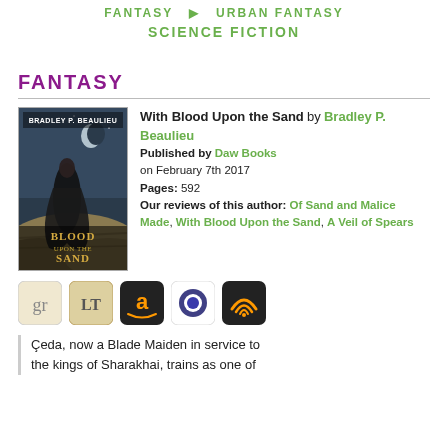FANTASY  URBAN FANTASY  SCIENCE FICTION
FANTASY
[Figure (illustration): Book cover of 'With Blood Upon the Sand' by Bradley P. Beaulieu showing a figure in dark robes on sandy dunes under a crescent moon]
With Blood Upon the Sand by Bradley P. Beaulieu Published by Daw Books on February 7th 2017 Pages: 592 Our reviews of this author: Of Sand and Malice Made, With Blood Upon the Sand, A Veil of Spears
[Figure (logo): Row of 5 service icons: Goodreads (gr), LibraryThing (LT), Amazon (a), Scribd, Audible]
Çeda, now a Blade Maiden in service to the kings of Sharakhai, trains as one of